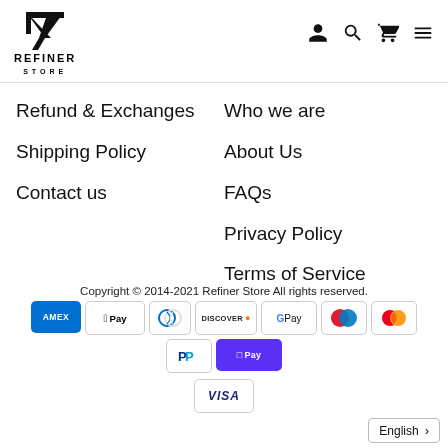[Figure (logo): Refiner Store logo with geometric arrow/R mark above text REFINER STORE]
[Figure (infographic): Navigation icons: user account, search, cart, hamburger menu]
Refund & Exchanges
Shipping Policy
Contact us
Who we are
About Us
FAQs
Privacy Policy
Terms of Service
Copyright © 2014-2021 Refiner Store All rights reserved.
[Figure (infographic): Payment method badges: Amex, Apple Pay, Diners Club, Discover, Google Pay, Maestro, Mastercard, PayPal, Shop Pay, Visa]
English >